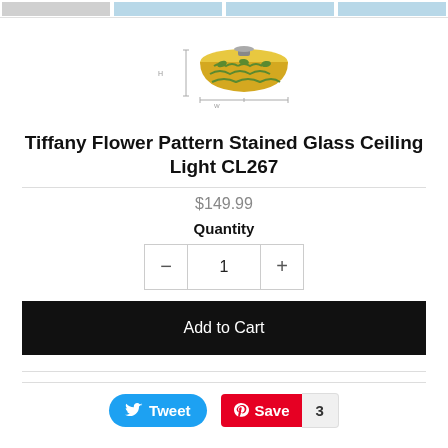[Figure (screenshot): Top row of thumbnail images for product (4 thumbnails, partially visible at very top)]
[Figure (photo): Tiffany Flower Pattern Stained Glass Ceiling Light product image showing the lamp from the side, with colorful stained glass dome in yellow, green, and brown tones, with a measurement scale below]
Tiffany Flower Pattern Stained Glass Ceiling Light CL267
$149.99
Quantity
1
Add to Cart
Tweet
Save
3